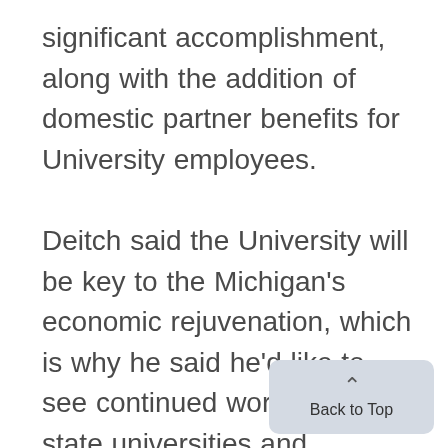significant accomplishment, along with the addition of domestic partner benefits for University employees. Deitch said the University will be key to the Michigan's economic rejuvenation, which is why he said he'd like to see continued work with other state universities and businesses to produce new technology. Deitch, who said he is not likely to seek a fourth term if he wins in
[Figure (other): Back to Top button overlay — light blue-grey rounded rectangle with an upward chevron arrow and the text 'Back to Top']